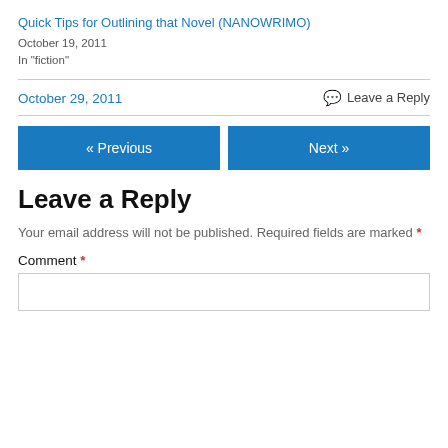Quick Tips for Outlining that Novel (NANOWRIMO)
October 19, 2011
In "fiction"
October 29, 2011
Leave a Reply
[Figure (other): Navigation buttons: « Previous and Next »]
Leave a Reply
Your email address will not be published. Required fields are marked *
Comment *